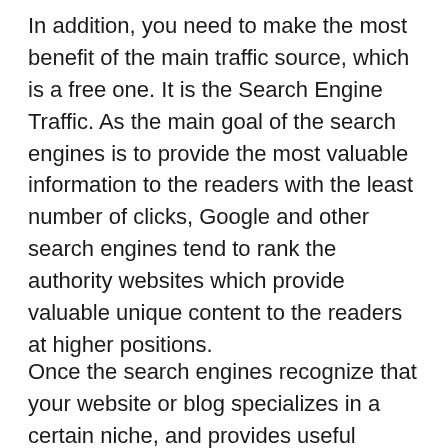In addition, you need to make the most benefit of the main traffic source, which is a free one. It is the Search Engine Traffic. As the main goal of the search engines is to provide the most valuable information to the readers with the least number of clicks, Google and other search engines tend to rank the authority websites which provide valuable unique content to the readers at higher positions.
Once the search engines recognize that your website or blog specializes in a certain niche, and provides useful content to the readers,